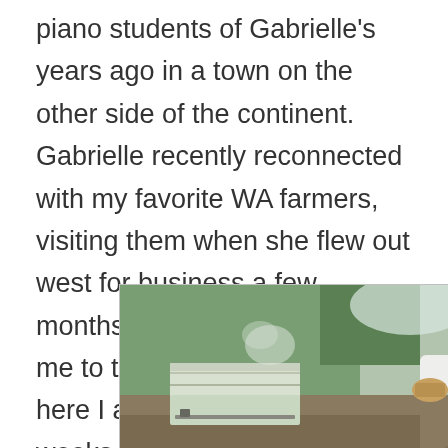piano students of Gabrielle's years ago in a town on the other side of the continent. Gabrielle recently reconnected with my favorite WA farmers, visiting them when she flew out west for business a few months ago. She introduced me to them via email, and now here I am four wonderful weeks later!
[Figure (photo): A person in a white beekeeping suit and veil helmet working with white beehive boxes outdoors. Green netting or vegetation visible in the background.]